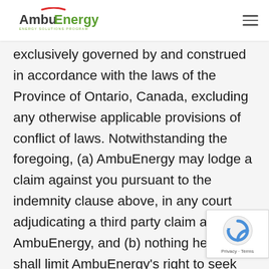AmbuEnergy [logo]
exclusively governed by and construed in accordance with the laws of the Province of Ontario, Canada, excluding any otherwise applicable provisions of conflict of laws. Notwithstanding the foregoing, (a) AmbuEnergy may lodge a claim against you pursuant to the indemnity clause above, in any court adjudicating a third party claim against AmbuEnergy, and (b) nothing herein shall limit AmbuEnergy's right to seek immediate temporary or emergency relief in any other court with competent